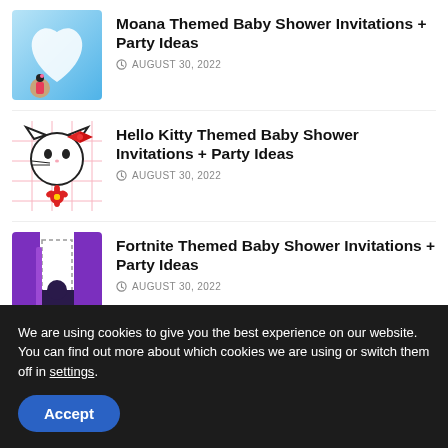[Figure (photo): Moana themed thumbnail with blue water heart shape]
Moana Themed Baby Shower Invitations + Party Ideas
AUGUST 30, 2022
[Figure (illustration): Hello Kitty line drawing illustration on pink grid background]
Hello Kitty Themed Baby Shower Invitations + Party Ideas
AUGUST 30, 2022
[Figure (photo): Fortnite themed purple invitation card design]
Fortnite Themed Baby Shower Invitations + Party Ideas
AUGUST 30, 2022
[Figure (photo): Partial colorful thumbnail partially visible at bottom]
We are using cookies to give you the best experience on our website.
You can find out more about which cookies we are using or switch them off in settings.